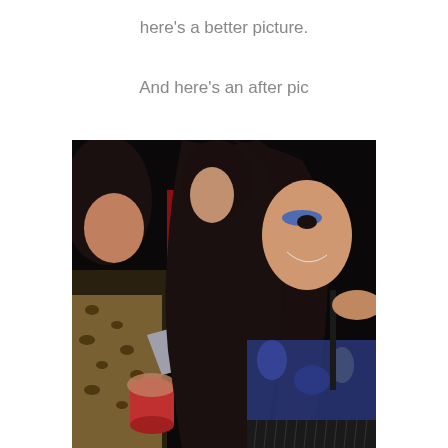here's a better picture.
And here's an after pic
[Figure (photo): Two women at a party/nightclub. The woman in the foreground has long dark hair, blue eye shadow, and is wearing a blue and black patterned top with a black fringe/feathered waistband. Another woman to her left is wearing a leopard print outfit and holding a red drink and a silver metallic clutch purse. Dark background typical of a nightclub setting.]